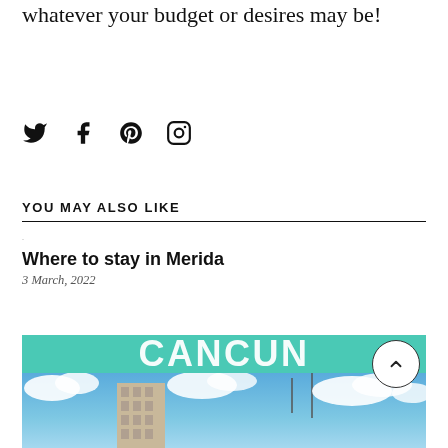whatever your budget or desires may be!
[Figure (infographic): Social media sharing icons: Twitter (bird), Facebook (f), Pinterest (P), Instagram (camera)]
YOU MAY ALSO LIKE
·
Where to stay in Merida
3 March, 2022
[Figure (photo): Image showing a teal/green banner with CANCUN text in large white letters, below which is a photo of a tall hotel building against a bright blue sky with white clouds, and Cancun cityscape.]